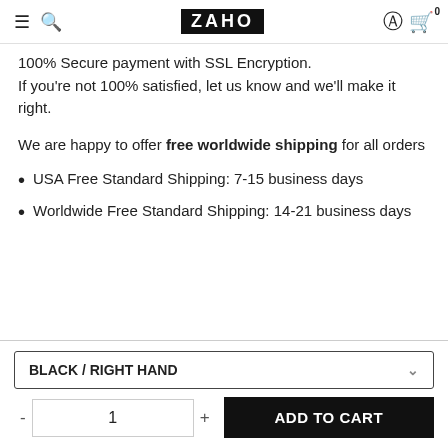ZAHO — navigation header with hamburger menu, search, account, and cart icons
100% Secure payment with SSL Encryption. If you're not 100% satisfied, let us know and we'll make it right.
We are happy to offer free worldwide shipping for all orders
USA Free Standard Shipping: 7-15 business days
Worldwide Free Standard Shipping: 14-21 business days
BLACK / RIGHT HAND
1
ADD TO CART